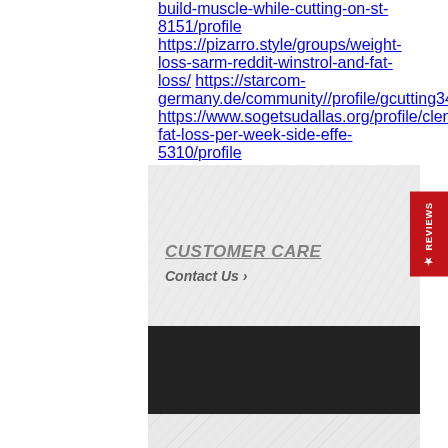build-muscle-while-cutting-on-st-8151/profile
https://pizarro.style/groups/weight-loss-sarm-reddit-winstrol-and-fat-loss/
https://starcom-germany.de/community//profile/gcutting34061573/
https://www.sogetsudallas.org/profile/clenbuterol-fat-loss-per-week-side-effe-5310/profile
CUSTOMER CARE
Contact Us ›
[Figure (screenshot): Dark banner/footer bar with dark background]
[Figure (screenshot): Gray textured background section at bottom]